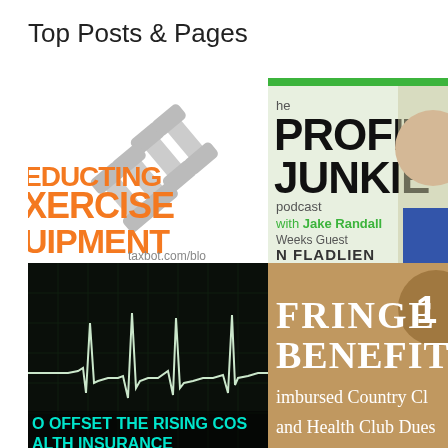Top Posts & Pages
[Figure (illustration): Deducting Exercise Equipment blog post thumbnail with orange bold text on white background with dumbbells image]
[Figure (illustration): The Profit Junkie Podcast with Jake Randall, Weeks Guest Jon Fladlien, green accent bar at top]
[Figure (illustration): How to offset the rising cost of health insurance - dark background with EKG heartbeat line graphic, cyan text]
[Figure (illustration): Fringe Benefit #11 - Reimbursed Country Club and Health Club Dues, tan/brown background with circular number badge]